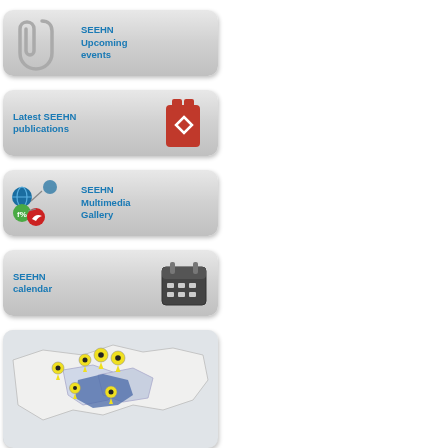[Figure (infographic): Button: SEEHN Upcoming events with paperclip icon on grey rounded rectangle]
[Figure (infographic): Button: Latest SEEHN publications with red memory card icon on grey rounded rectangle]
[Figure (infographic): Button: SEEHN Multimedia Gallery with social media icons on grey rounded rectangle]
[Figure (infographic): Button: SEEHN calendar with calendar icon on grey rounded rectangle]
[Figure (map): Map showing region with yellow location pins and blue shaded area]